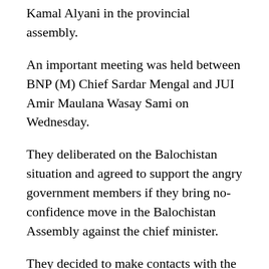Kamal Alyani in the provincial assembly.
An important meeting was held between BNP (M) Chief Sardar Mengal and JUI Amir Maulana Wasay Sami on Wednesday.
They deliberated on the Balochistan situation and agreed to support the angry government members if they bring no-confidence move in the Balochistan Assembly against the chief minister.
They decided to make contacts with the opposition parliamentary members and estranged government members.
On the other hand, the estranged leaders have issued an ultimatum to beleaguered Chief Minister Jam Kamal to tender his resignation till 6pm or else they will use all other options including no-trust motion against him